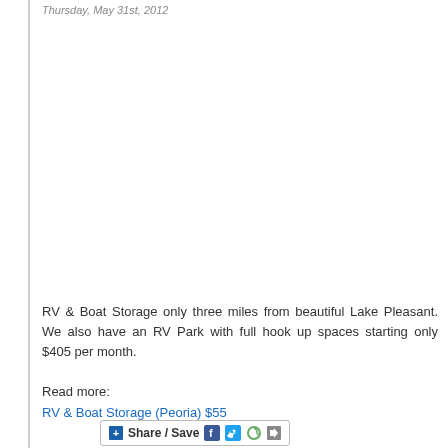Thursday, May 31st, 2012
RV & Boat Storage only three miles from beautiful Lake Pleasant. We also have an RV Park with full hook up spaces starting only $405 per month.
Read more:
RV & Boat Storage (Peoria) $55
[Figure (other): Share/Save social sharing button bar with Facebook, Twitter, and other icons]